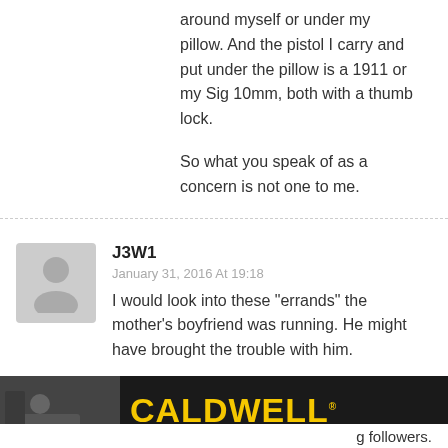around myself or under my pillow. And the pistol I carry and put under the pillow is a 1911 or my Sig 10mm, both with a thumb lock.
So what you speak of as a concern is not one to me.
J3W1
January 31, 2016 At 19:18
I would look into these “errands” the mother's boyfriend was running. He might have brought the trouble with him.
Reply
Pascal
[Figure (photo): Caldwell advertisement banner showing a person shooting with Caldwell logo in yellow text on dark background]
g followers.